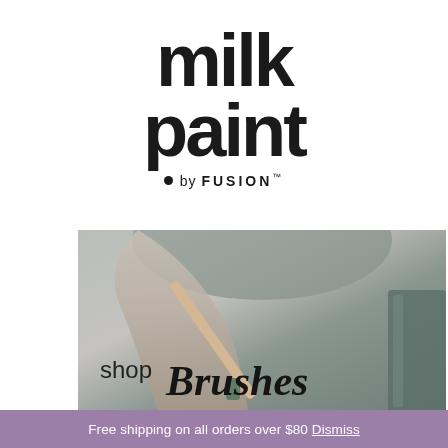[Figure (logo): Milk Paint by Fusion logo — large bold black text 'milk paint' stacked, with a dot and 'by FUSION™' below]
[Figure (photo): Photo of person in grey outfit holding a brush, with overlaid text 'shop Brushes' in mixed sans-serif and italic serif fonts]
Free shipping on all orders over $80 Dismiss